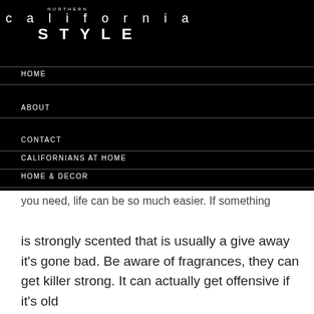NORTHERN california STYLE
HOME
ABOUT
CONTACT
CALIFORNIANS AT HOME
HOME & DECOR
MY CALIFORNIA CLOSET
you need, life can be so much easier. If something is strongly scented that is usually a give away it's gone bad. Be aware of fragrances, they can get killer strong. It can actually get offensive if it's old